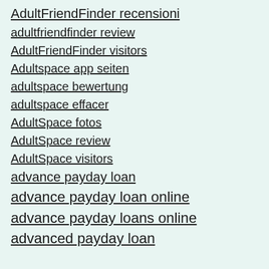AdultFriendFinder recensioni
adultfriendfinder review
AdultFriendFinder visitors
Adultspace app seiten
adultspace bewertung
adultspace effacer
AdultSpace fotos
AdultSpace review
AdultSpace visitors
advance payday loan
advance payday loan online
advance payday loans online
advanced payday loan